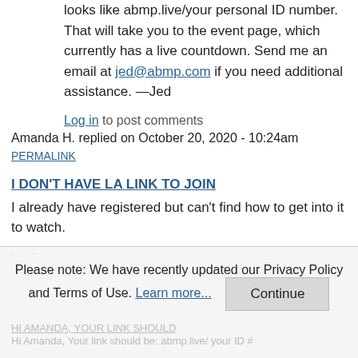looks like abmp.live/your personal ID number. That will take you to the event page, which currently has a live countdown. Send me an email at jed@abmp.com if you need additional assistance. —Jed
Log in to post comments
Amanda H. replied on October 20, 2020 - 10:24am
PERMALINK
I DON'T HAVE LA LINK TO JOIN
I already have registered but can't find how to get into it to watch.
Log in to post comments
Jed replied on October 20, 2020 - 10:25am PERMALINK
HI AMANDA, YOUR LINK SHOULD
Hi Amanda, Your link should be: abmp.live/your ID #
Please note: We have recently updated our Privacy Policy and Terms of Use. Learn more... Continue